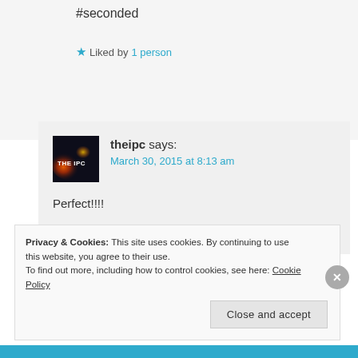#seconded
★ Liked by 1 person
theipc says:
March 30, 2015 at 8:13 am
Perfect!!!!
Mission accomplished!!!!
Privacy & Cookies: This site uses cookies. By continuing to use this website, you agree to their use. To find out more, including how to control cookies, see here: Cookie Policy
Close and accept